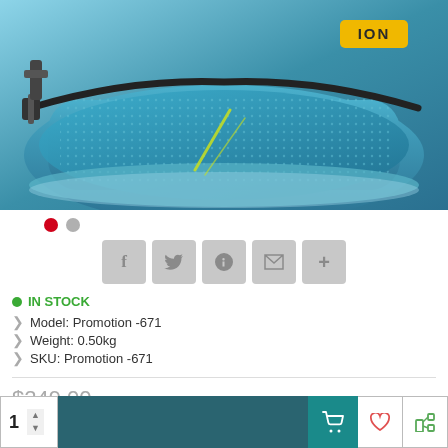[Figure (photo): Blue ION brand bag/backpack with black straps on a light background. The bag has a teal/blue color scheme with a yellow ION logo badge in the upper right corner and yellow accent lines on the front.]
IN STOCK
Model: Promotion -671
Weight: 0.50kg
SKU: Promotion -671
$249.00
$74.70